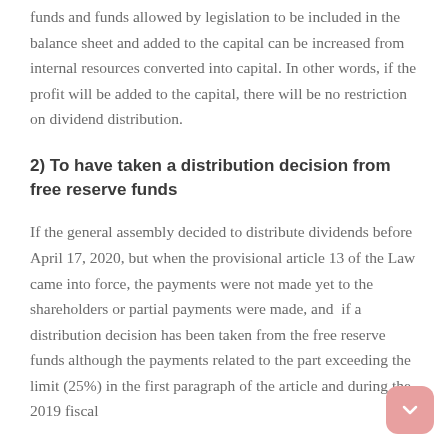funds and funds allowed by legislation to be included in the balance sheet and added to the capital can be increased from internal resources converted into capital. In other words, if the profit will be added to the capital, there will be no restriction on dividend distribution.
2) To have taken a distribution decision from free reserve funds
If the general assembly decided to distribute dividends before April 17, 2020, but when the provisional article 13 of the Law came into force, the payments were not made yet to the shareholders or partial payments were made, and if a distribution decision has been taken from the free reserve funds although the payments related to the part exceeding the limit (25%) in the first paragraph of the article and during the 2019 fiscal